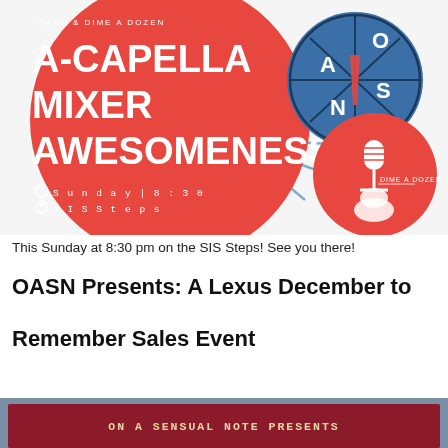[Figure (illustration): A-Capella Mixer Awesomeness event flyer with red circle, blue OASN logo circle, red Dime A Dozen microphone circle on white/light background with ray lines. Text: OASN & DIME A DOZEN, A-CAPELLA MIXER AWESOMENESS, Sunday|8:30, SIS Steps]
This Sunday at 8:30 pm on the SIS Steps! See you there!
OASN Presents: A Lexus December to Remember Sales Event
[Figure (illustration): Bottom banner: light blue background with dark red/maroon inner banner containing text 'ON A SENSUAL NOTE PRESENTS' in gold monospace letters]